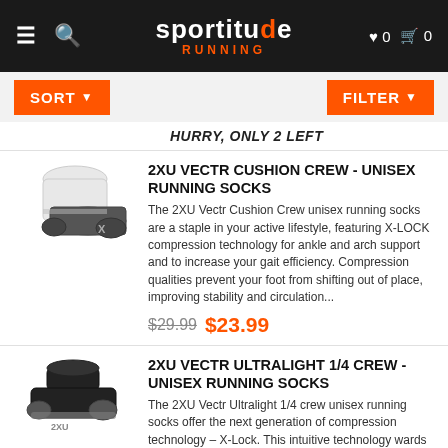sportitude RUNNING
HURRY, ONLY 2 LEFT
2XU VECTR CUSHION CREW - UNISEX RUNNING SOCKS
The 2XU Vectr Cushion Crew unisex running socks are a staple in your active lifestyle, featuring X-LOCK compression technology for ankle and arch support and to increase your gait efficiency. Compression qualities prevent your foot from shifting out of place, improving stability and circulation…
$29.99 $23.99
2XU VECTR ULTRALIGHT 1/4 CREW - UNISEX RUNNING SOCKS
The 2XU Vectr Ultralight 1/4 crew unisex running socks offer the next generation of compression technology – X-Lock. This intuitive technology wards off blisters with a secure, second skin fit to prevent friction and allows